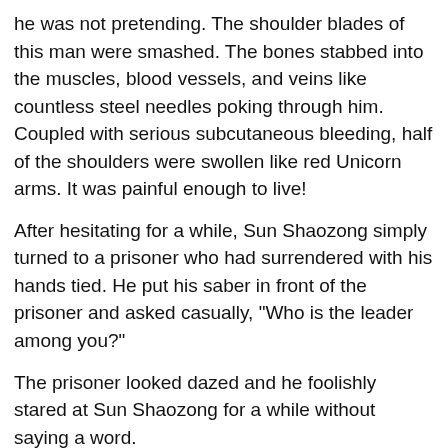he was not pretending. The shoulder blades of this man were smashed. The bones stabbed into the muscles, blood vessels, and veins like countless steel needles poking through him. Coupled with serious subcutaneous bleeding, half of the shoulders were swollen like red Unicorn arms. It was painful enough to live!
After hesitating for a while, Sun Shaozong simply turned to a prisoner who had surrendered with his hands tied. He put his saber in front of the prisoner and asked casually, "Who is the leader among you?"
The prisoner looked dazed and he foolishly stared at Sun Shaozong for a while without saying a word.
[Figure (other): Hefty advertisement banner: orange background with Hefty and Fabuloso logos, text 'HEFTY STRONG, FABULOSO FRESH', product image on right side. Has play and close icons in top right.]
strange voice, "It's the man you stepped on just now!"